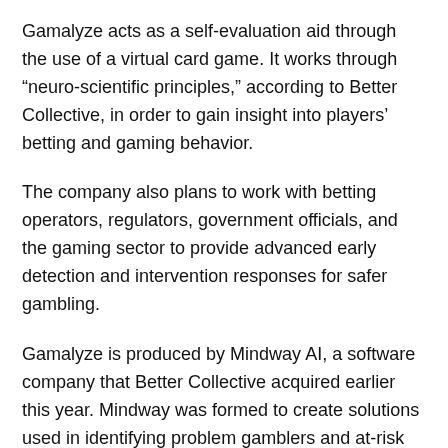Gamalyze acts as a self-evaluation aid through the use of a virtual card game. It works through “neuro-scientific principles,” according to Better Collective, in order to gain insight into players’ betting and gaming behavior.
The company also plans to work with betting operators, regulators, government officials, and the gaming sector to provide advanced early detection and intervention responses for safer gambling.
Gamalyze is produced by Mindway AI, a software company that Better Collective acquired earlier this year. Mindway was formed to create solutions used in identifying problem gamblers and at-risk gamblers. The products it uses are based on neurosciences and artificial intelligence (AI).
Well-Timed Rollout for Better